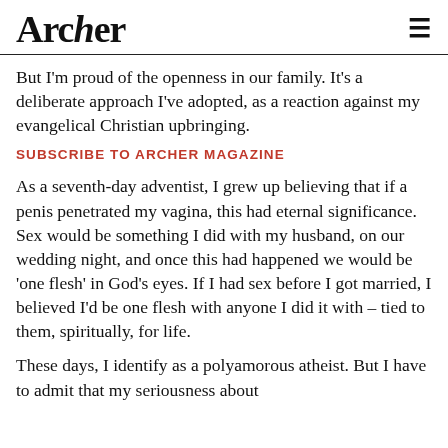Archer
But I'm proud of the openness in our family. It's a deliberate approach I've adopted, as a reaction against my evangelical Christian upbringing.
SUBSCRIBE TO ARCHER MAGAZINE
As a seventh-day adventist, I grew up believing that if a penis penetrated my vagina, this had eternal significance. Sex would be something I did with my husband, on our wedding night, and once this had happened we would be 'one flesh' in God's eyes. If I had sex before I got married, I believed I'd be one flesh with anyone I did it with – tied to them, spiritually, for life.
These days, I identify as a polyamorous atheist. But I have to admit that my seriousness about